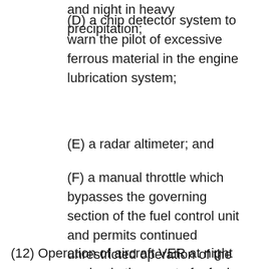and night in heavy precipitation;
(D) a chip detector system to warn the pilot of excessive ferrous material in the engine lubrication system;
(E) a radar altimeter; and
(F) a manual throttle which bypasses the governing section of the fuel control unit and permits continued unrestricted operation of the engine in the event of a fuel control unit failure.
(12) Operation of aircraft VER at night